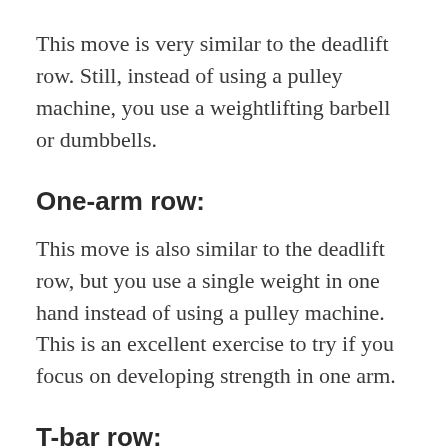This move is very similar to the deadlift row. Still, instead of using a pulley machine, you use a weightlifting barbell or dumbbells.
One-arm row:
This move is also similar to the deadlift row, but you use a single weight in one hand instead of using a pulley machine. This is an excellent exercise to try if you focus on developing strength in one arm.
T-bar row:
If you want to strengthen your back and work one arm at a time, this is an excellent alternativ